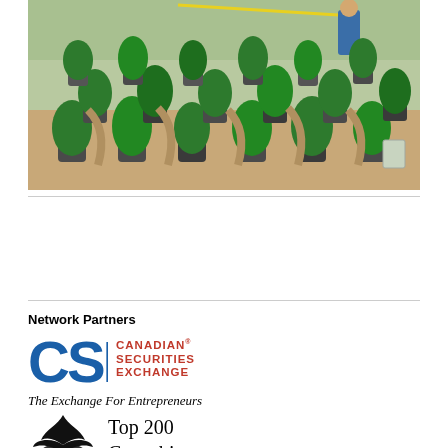[Figure (photo): Rows of cannabis plants in black fabric pots inside a greenhouse or outdoor growing facility. Sandy ground, green leafy plants in orderly rows, a person in blue visible in background, plastic container on right side.]
Network Partners
[Figure (logo): CSE Canadian Securities Exchange logo — 'CSE' in large blue bold letters, 'CANADIAN SECURITIES EXCHANGE' in red bold text to the right, tagline 'The Exchange For Entrepreneurs' in italic below.]
[Figure (logo): Top 200 Cannabis Lawyers logo — black cannabis leaf icon on left, text 'Top 200 Cannabis Lawyers' on right in serif font.]